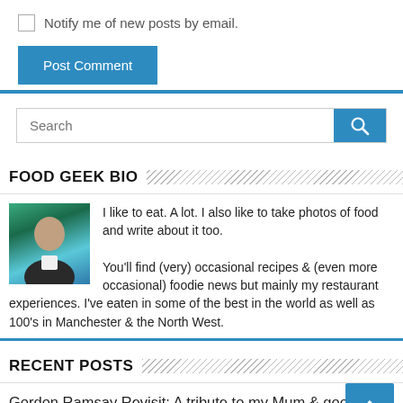Notify me of new posts by email.
Post Comment
Search
FOOD GEEK BIO
I like to eat. A lot. I also like to take photos of food and write about it too.

You'll find (very) occasional recipes & (even more occasional) foodie news but mainly my restaurant experiences. I've eaten in some of the best in the world as well as 100's in Manchester & the North West.
RECENT POSTS
Gordon Ramsay Revisit: A tribute to my Mum & goodbye to this blog